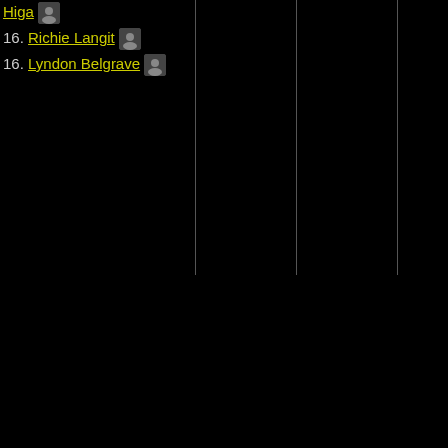Higa [icon]
16. Richie Langit [icon]
16. Lyndon Belgrave [icon]
Shee Anderto [icon]